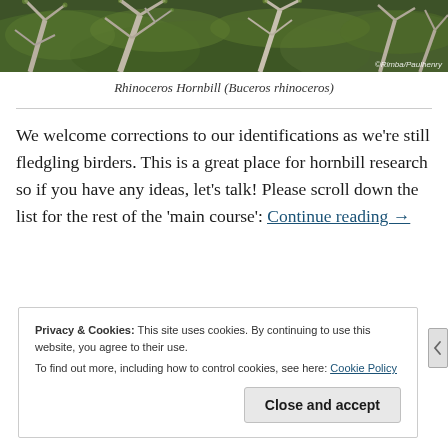[Figure (photo): Photo of tree branches with sparse leaves against a forested hillside background, with photo credit ©Rimba/Paulhenry in the bottom right corner]
Rhinoceros Hornbill (Buceros rhinoceros)
We welcome corrections to our identifications as we're still fledgling birders. This is a great place for hornbill research so if you have any ideas, let's talk! Please scroll down the list for the rest of the 'main course': Continue reading →
Privacy & Cookies: This site uses cookies. By continuing to use this website, you agree to their use.
To find out more, including how to control cookies, see here: Cookie Policy
Close and accept